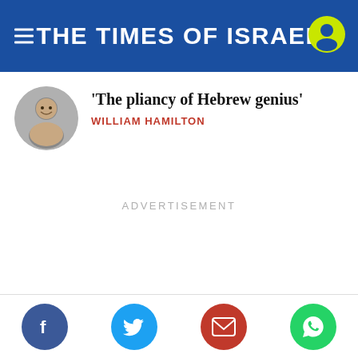THE TIMES OF ISRAEL
‘The pliancy of Hebrew genius’
WILLIAM HAMILTON
ADVERTISEMENT
Social share buttons: Facebook, Twitter, Email, WhatsApp